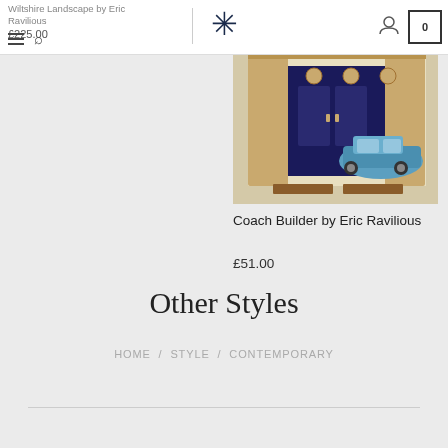Wiltshire Landscape by Eric Ravilious £225.00
[Figure (screenshot): Website navigation bar with hamburger menu, search icon, logo, user icon, and cart showing 0]
[Figure (photo): Coach Builder by Eric Ravilious - illustration of a shop front with a vintage car, gold emblems, and blue decorative elements]
Coach Builder by Eric Ravilious
£51.00
Other Styles
HOME / STYLE / CONTEMPORARY